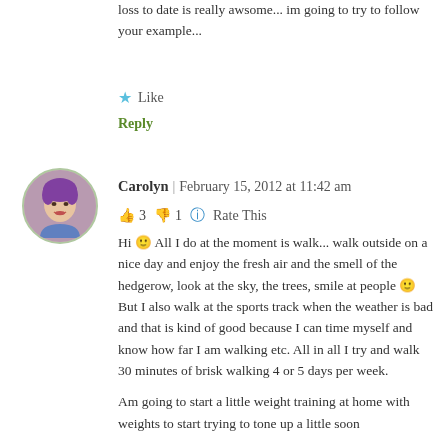loss to date is really awsome... im going to try to follow your example...
★ Like
Reply
Carolyn | February 15, 2012 at 11:42 am
👍 3 👎 1 🔵 Rate This
Hi 🙂 All I do at the moment is walk... walk outside on a nice day and enjoy the fresh air and the smell of the hedgerow, look at the sky, the trees, smile at people 🙂 But I also walk at the sports track when the weather is bad and that is kind of good because I can time myself and know how far I am walking etc. All in all I try and walk 30 minutes of brisk walking 4 or 5 days per week.

Am going to start a little weight training at home with weights to start trying to tone up a little soon